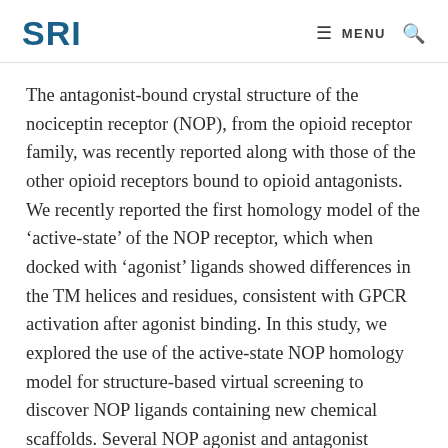SRI | MENU
The antagonist-bound crystal structure of the nociceptin receptor (NOP), from the opioid receptor family, was recently reported along with those of the other opioid receptors bound to opioid antagonists. We recently reported the first homology model of the ‘active-state’ of the NOP receptor, which when docked with ‘agonist’ ligands showed differences in the TM helices and residues, consistent with GPCR activation after agonist binding. In this study, we explored the use of the active-state NOP homology model for structure-based virtual screening to discover NOP ligands containing new chemical scaffolds. Several NOP agonist and antagonist